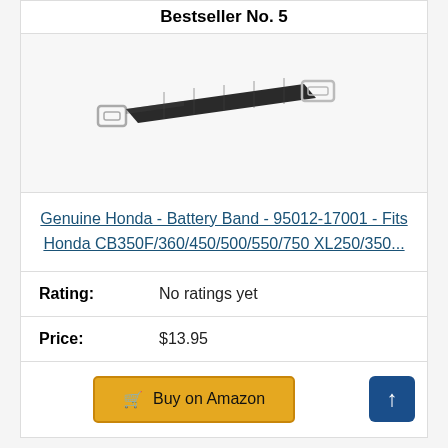Bestseller No. 5
[Figure (photo): A black battery strap/band with metal buckle ends, used for securing motorcycle batteries.]
Genuine Honda - Battery Band - 95012-17001 - Fits Honda CB350F/360/450/500/550/750 XL250/350...
Rating: No ratings yet
Price: $13.95
Buy on Amazon